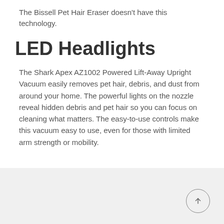The Bissell Pet Hair Eraser doesn't have this technology.
LED Headlights
The Shark Apex AZ1002 Powered Lift-Away Upright Vacuum easily removes pet hair, debris, and dust from around your home. The powerful lights on the nozzle reveal hidden debris and pet hair so you can focus on cleaning what matters. The easy-to-use controls make this vacuum easy to use, even for those with limited arm strength or mobility.